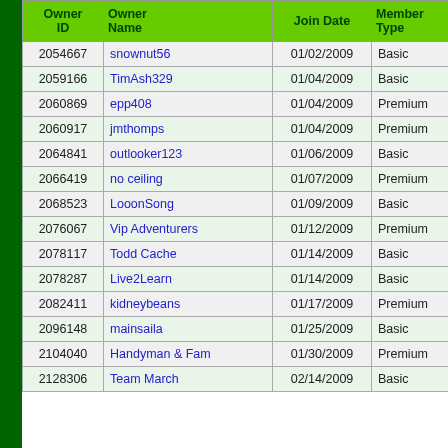| Owner ID | Owner Name | Join Date | Member Type |
| --- | --- | --- | --- |
| 2054667 | snownut56 | 01/02/2009 | Basic |
| 2059166 | TimAsh329 | 01/04/2009 | Basic |
| 2060869 | epp408 | 01/04/2009 | Premium |
| 2060917 | jmthomps | 01/04/2009 | Premium |
| 2064841 | outlooker123 | 01/06/2009 | Basic |
| 2066419 | no ceiling | 01/07/2009 | Premium |
| 2068523 | LooonSong | 01/09/2009 | Basic |
| 2076067 | Vip Adventurers | 01/12/2009 | Premium |
| 2078117 | Todd Cache | 01/14/2009 | Basic |
| 2078287 | Live2Learn | 01/14/2009 | Basic |
| 2082411 | kidneybeans | 01/17/2009 | Premium |
| 2096148 | mainsaila | 01/25/2009 | Basic |
| 2104040 | Handyman & Fam | 01/30/2009 | Premium |
| 2128306 | Team March | 02/14/2009 | Basic |